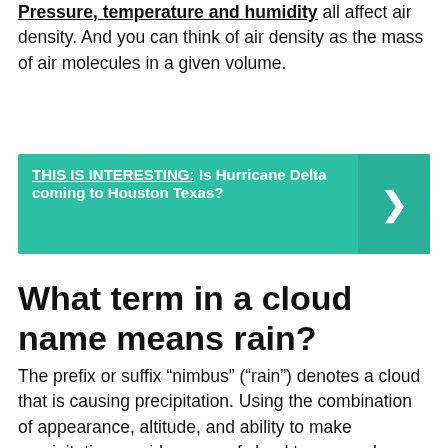Pressure, temperature and humidity all affect air density. And you can think of air density as the mass of air molecules in a given volume.
THIS IS INTERESTING:  Is Hurricane Delta coming to Houston Texas?
What term in a cloud name means rain?
The prefix or suffix “nimbus” (“rain”) denotes a cloud that is causing precipitation. Using the combination of appearance, altitude, and ability to make precipitation, a wide range of cloud types can be identified.